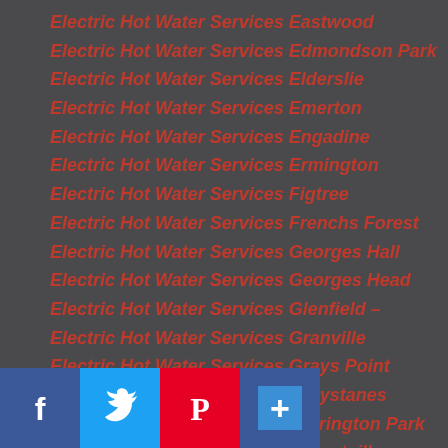Electric Hot Water Services Eastwood
Electric Hot Water Services Edmondson Park
Electric Hot Water Services Elderslie
Electric Hot Water Services Emerton
Electric Hot Water Services Engadine
Electric Hot Water Services Ermington
Electric Hot Water Services Figtree
Electric Hot Water Services Frenchs Forest
Electric Hot Water Services Georges Hall
Electric Hot Water Services Georges Head
Electric Hot Water Services Glenfield –
Electric Hot Water Services Granville
Electric Hot Water Services Grays Point
Electric Hot Water Services Greystanes
Electric Hot Water Services Harrington Park
Electric Hot Water Services Hobartville
Electric Hot Water Services Hoxton Park
Electric Hot Water Services Huntleys Point
Electric Hot Water Services Illawong